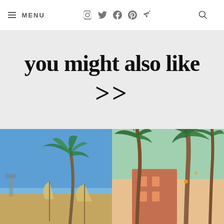MENU | social icons | search
you might also like >>
[Figure (photo): Photo of beach scene with palm tree and umbrellas against blue sky]
[Figure (photo): Photo of tropical palm trees with pink building in background]